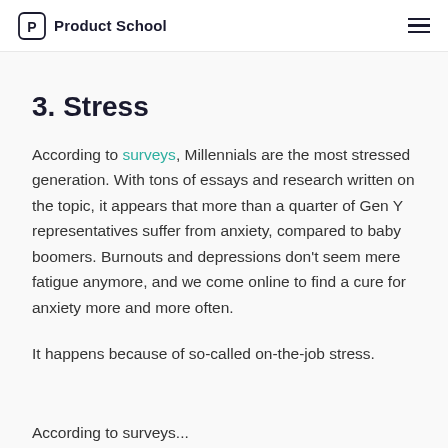Product School
3. Stress
According to surveys, Millennials are the most stressed generation. With tons of essays and research written on the topic, it appears that more than a quarter of Gen Y representatives suffer from anxiety, compared to baby boomers. Burnouts and depressions don't seem mere fatigue anymore, and we come online to find a cure for anxiety more and more often.
It happens because of so-called on-the-job stress.
According to surveys...